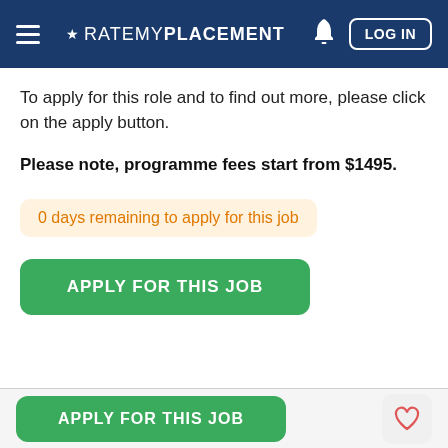RATEMYPLACEMENT LOG IN
To apply for this role and to find out more, please click on the apply button.
Please note, programme fees start from $1495.
0 days remaining to apply for this job
APPLY FOR THIS JOB
APPLY FOR THIS JOB